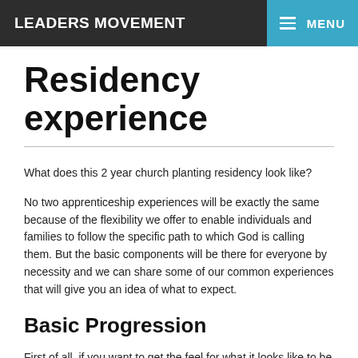LEADERS MOVEMENT   MENU
Residency experience
What does this 2 year church planting residency look like?
No two apprenticeship experiences will be exactly the same because of the flexibility we offer to enable individuals and families to follow the specific path to which God is calling them. But the basic components will be there for everyone by necessity and we can share some of our common experiences that will give you an idea of what to expect.
Basic Progression
First of all, if you want to get the feel for what it looks like to be on mission and be part of something much bigger than yourself, we invite you to move to Montreal and be part of Church 21! Si vous pouvez déjà parler